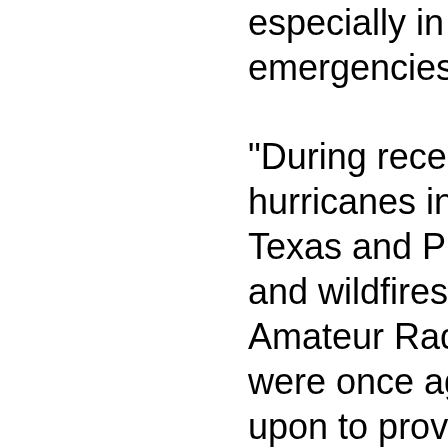especially in times of emergencies.
“During recent disasters, hurricanes in Florida, Texas and Puerto Rico and wildfires in the West, Amateur Radio operators were once again called upon to provide emergency communication